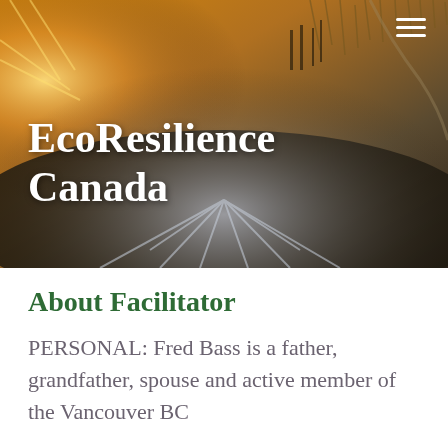[Figure (photo): Hero landscape photo showing a wetland or marsh scene with snow-dusted dark ground, golden grasses and warm sunset light in the background. White text 'EcoResilience Canada' overlaid on the image. Hamburger menu icon in top right corner.]
EcoResilience Canada
About Facilitator
PERSONAL: Fred Bass is a father, grandfather, spouse and active member of the Vancouver BC